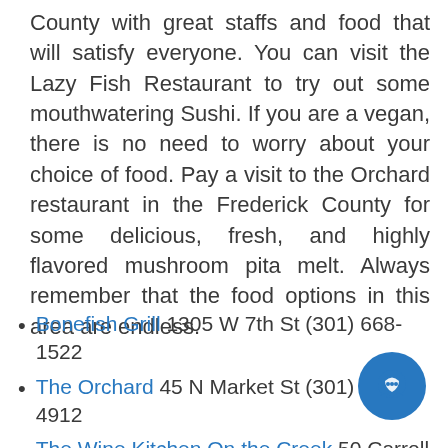County with great staffs and food that will satisfy everyone. You can visit the Lazy Fish Restaurant to try out some mouthwatering Sushi. If you are a vegan, there is no need to worry about your choice of food. Pay a visit to the Orchard restaurant in the Frederick County for some delicious, fresh, and highly flavored mushroom pita melt. Always remember that the food options in this area are endless.
Bonefish Grill 1305 W 7th St (301) 668-1522
The Orchard 45 N Market St (301) 663-4912
The Wine Kitchen On the Creek 50 Carroll Creek Way (301) 663-6968
Firestone's Culinary Tavern 105 N Market St.